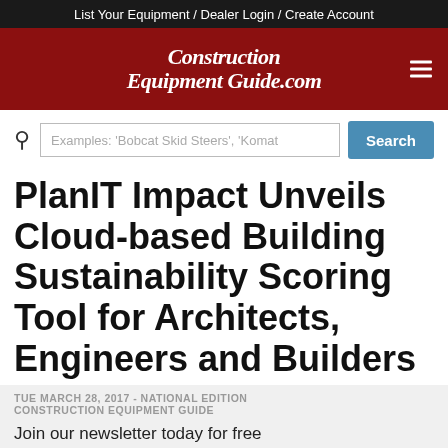List Your Equipment / Dealer Login / Create Account
[Figure (logo): Construction Equipment Guide .com logo on dark red background with hamburger menu icon]
Examples: 'Bobcat Skid Steers', 'Komat  Search
PlanIT Impact Unveils Cloud-based Building Sustainability Scoring Tool for Architects, Engineers and Builders
TUE MARCH 28, 2017 - NATIONAL EDITION
CONSTRUCTION EQUIPMENT GUIDE
Join our newsletter today for free
Enter your email  Subscribe Now